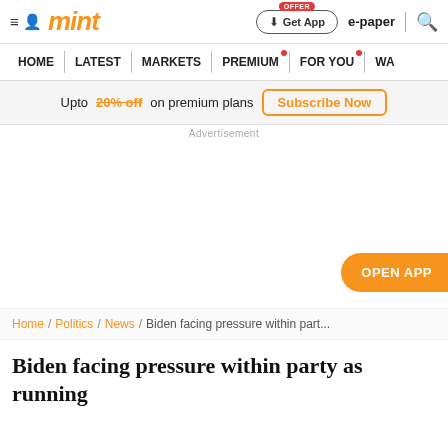mint — Home | Latest | Markets | Premium | For You | WA
Upto 20% off on premium plans — Subscribe Now
Advertisement
[Figure (other): Orange 'OPEN APP' button on right side]
Home / Politics / News / Biden facing pressure within part...
Biden facing pressure within party as running